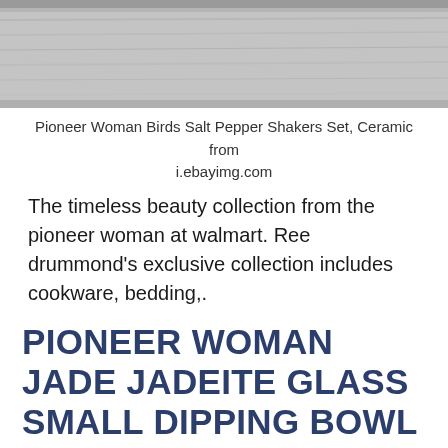[Figure (photo): Top portion of a product photo showing gray/neutral background, partial image of Pioneer Woman Birds Salt Pepper Shakers Set]
Pioneer Woman Birds Salt Pepper Shakers Set, Ceramic from i.ebayimg.com
The timeless beauty collection from the pioneer woman at walmart. Ree drummond's exclusive collection includes cookware, bedding,.
PIONEER WOMAN JADE JADEITE GLASS SMALL DIPPING BOWL SET OF
[Figure (photo): Photo of a green jadeite glass small dipping bowl, jade green color with embossed floral pattern, sitting on a beige/tan background]